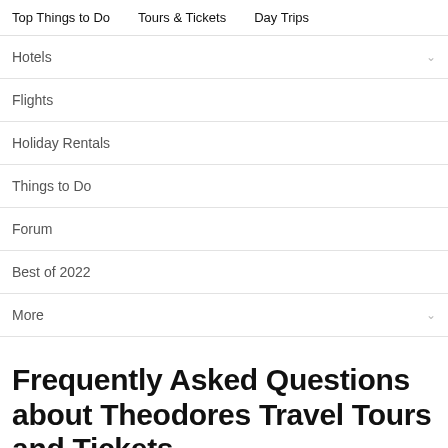Top Things to Do   Tours & Tickets   Day Trips
Hotels
Flights
Holiday Rentals
Things to Do
Forum
Best of 2022
More
Frequently Asked Questions about Theodores Travel Tours and Tickets